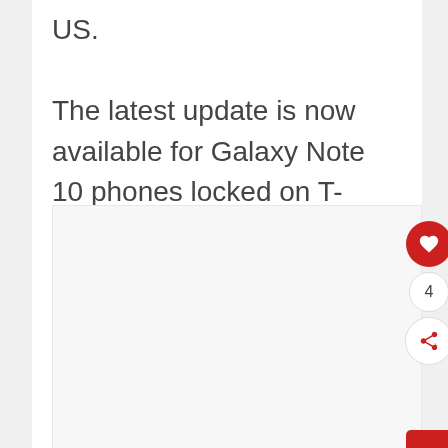US. The latest update is now available for Galaxy Note 10 phones locked on T-Mobile, Sprint, Comcast, and Xfinity.
[Figure (other): Large white/light gray image placeholder area below the text block, with social interaction buttons (heart/like, count showing 4, share) on the right side, and a red back-to-top arrow button at the bottom right.]